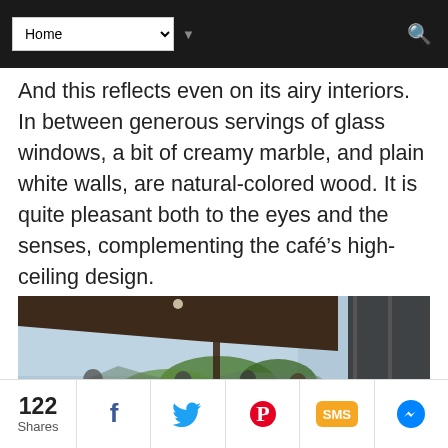Home (navigation dropdown) + search icon
And this reflects even on its airy interiors. In between generous servings of glass windows, a bit of creamy marble, and plain white walls, are natural-colored wood. It is quite pleasant both to the eyes and the senses, complementing the café's high-ceiling design.
[Figure (photo): Interior view of a cafe with large glass windows/doors, wooden ceiling, patrons seated, and a scenic outdoor view of trees and mountains/water in the background.]
122 Shares | Facebook | Twitter | Pinterest | SMS | Messenger